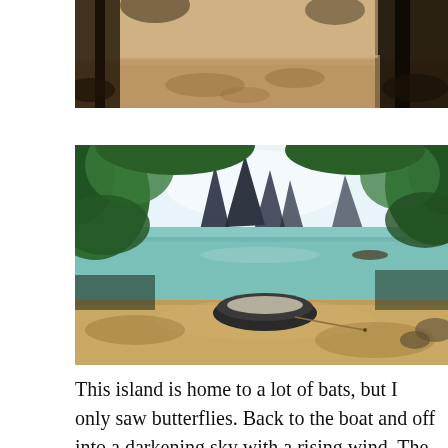[Figure (photo): Beach scene with dark tree trunks silhouetted against sandy ground and bright background, dappled shadows on sand]
[Figure (photo): Tropical lagoon cove with small inflatable boat on sandy beach, framed by green foliage and tall limestone karst rock formations in background under bright sky]
This island is home to a lot of bats, but I only saw butterflies. Back to the boat and off into a darkening sky with a rising wind, The wind was